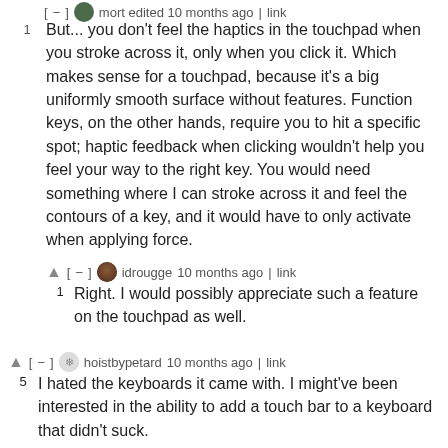[−] mort edited 10 months ago | link
But... you don't feel the haptics in the touchpad when you stroke across it, only when you click it. Which makes sense for a touchpad, because it's a big uniformly smooth surface without features. Function keys, on the other hands, require you to hit a specific spot; haptic feedback when clicking wouldn't help you feel your way to the right key. You would need something where I can stroke across it and feel the contours of a key, and it would have to only activate when applying force.
[−] idrougge 10 months ago | link
Right. I would possibly appreciate such a feature on the touchpad as well.
[−] hoistbypetard 10 months ago | link
I hated the keyboards it came with. I might've been interested in the ability to add a touch bar to a keyboard that didn't suck.
Removing the esc key made it a complete non-starter for me. I didn't care for the removal of the function row. By the time they put the esc key back and fixed the keyboard, I had